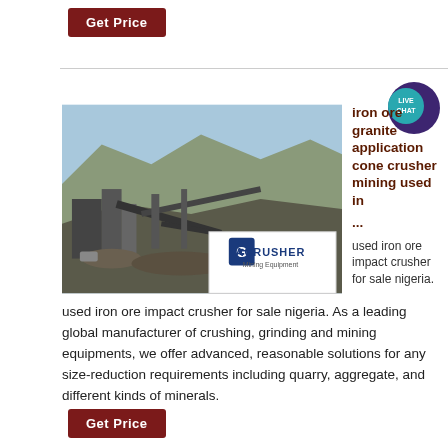Get Price
[Figure (photo): Mining/crushing plant with conveyor belts and mountains in background. ACRUSHER Mining Equipment logo overlay.]
iron ore granite application cone crusher mining used in ...
used iron ore impact crusher for sale nigeria. used iron ore impact crusher for sale nigeria. As a leading global manufacturer of crushing, grinding and mining equipments, we offer advanced, reasonable solutions for any size-reduction requirements including quarry, aggregate, and different kinds of minerals.
Get Price